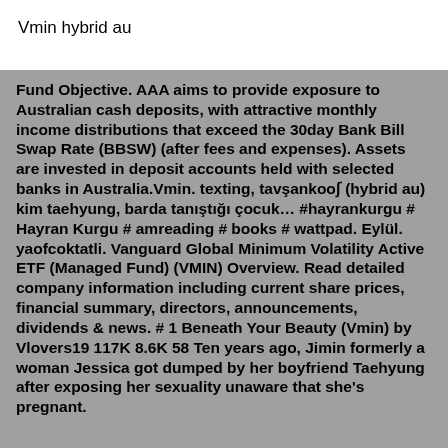Vmin hybrid au
Fund Objective. AAA aims to provide exposure to Australian cash deposits, with attractive monthly income distributions that exceed the 30day Bank Bill Swap Rate (BBSW) (after fees and expenses). Assets are invested in deposit accounts held with selected banks in Australia.Vmin. texting, tavşankooʃ (hybrid au) kim taehyung, barda tanıştığı çocuk… #hayrankurgu # Hayran Kurgu # amreading # books # wattpad. Eylül. yaofcoktatli. Vanguard Global Minimum Volatility Active ETF (Managed Fund) (VMIN) Overview. Read detailed company information including current share prices, financial summary, directors, announcements, dividends & news. # 1 Beneath Your Beauty (Vmin) by Vlovers19 117K 8.6K 58 Ten years ago, Jimin formerly a woman Jessica got dumped by her boyfriend Taehyung after exposing her sexuality unaware that she's pregnant.